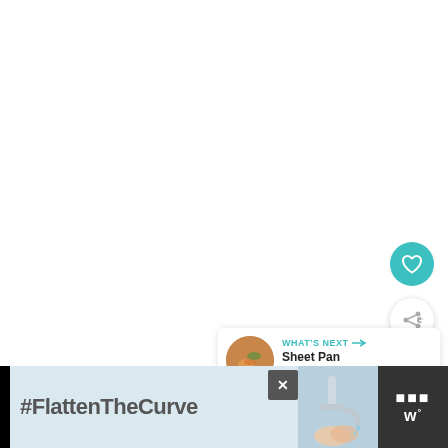[Figure (illustration): White empty content area (main body of web page)]
[Figure (illustration): Teal circular favorite/heart button on right side]
[Figure (illustration): White circular share button with share icon on right side]
[Figure (illustration): What's Next card showing 'Sheet Pan Shrimp Fajitas' with food thumbnail image]
[Figure (screenshot): Bottom advertisement banner with #FlattenTheCurve text, faucet/handwashing image, close button, and w° logo]